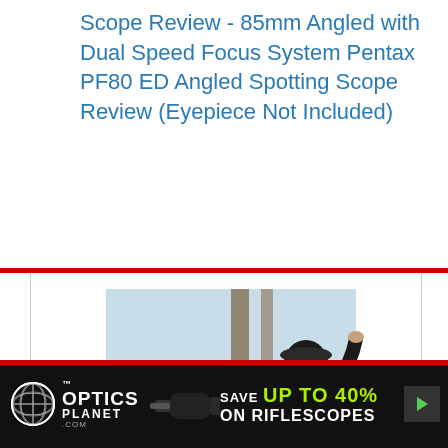Scope Review - 85mm Angled with Dual Speed Focus System Pentax PF80 ED Angled Spotting Scope Review (Eyepiece Not Included)
[Figure (photo): A man wearing a cap looking through a spotting scope outdoors near trees, shown in a video player frame.]
[Figure (photo): OpticsPlanet.com advertisement banner: logo on left, rifle scope image in center, text 'SAVE UP TO 40% ON RIFLESCOPES' on right with a play/arrow button.]